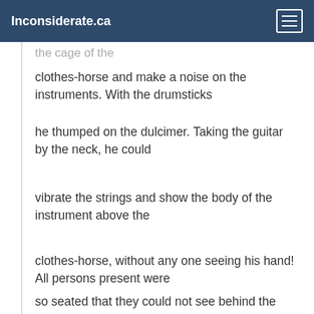Inconsiderate.ca
clothes-horse and make a noise on the instruments. With the drumsticks
he thumped on the dulcimer. Taking the guitar by the neck, he could
vibrate the strings and show the body of the instrument above the
clothes-horse, without any one seeing his hand! All persons present were
so seated that they could not see behind the clothes-horse, or have a
view of the medium's right shoulder. When asked why